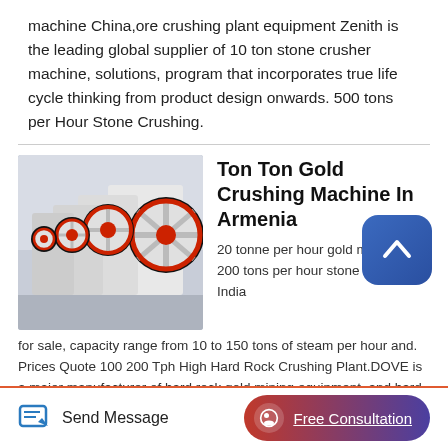machine China,ore crushing plant equipment Zenith is the leading global supplier of 10 ton stone crusher machine, solutions, program that incorporates true life cycle thinking from product design onwards. 500 tons per Hour Stone Crushing.
[Figure (photo): Row of industrial jaw crusher machines with white bodies and large red and black flywheels in a warehouse setting.]
Ton Ton Gold Crushing Machine In Armenia
20 tonne per hour gold mining plant 200 tons per hour stone crusher in India for sale, capacity range from 10 to 150 tons of steam per hour and. Prices Quote 100 200 Tph High Hard Rock Crushing Plant.DOVE is a major manufacturer of hard rock gold mining equipment, and hard rock mining equipment, and crushing
Send Message
Free Consultation